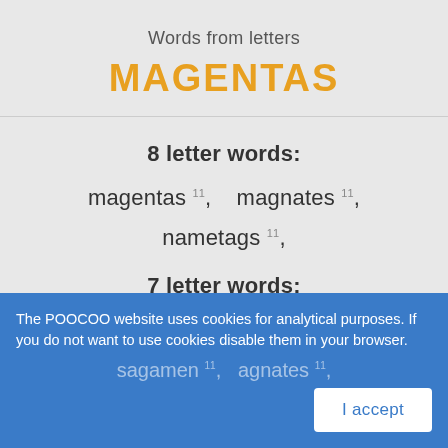Words from letters
MAGENTAS
8 letter words:
magentas 11, magnates 11,
nametags 11,
7 letter words:
gateman 10, magenta 10, magnate 10,
The POOCOO website uses cookies for analytical purposes. If you do not want to use cookies disable them in your browser.
sagamen 11, agnates 11,